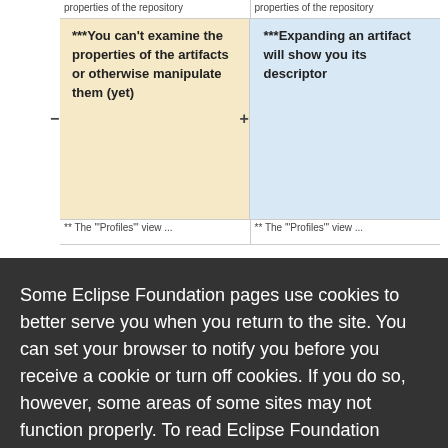| (left column) | (right column) |
| --- | --- |
| properties of the repository | properties of the repository |
| ***You can't examine the properties of the artifacts or otherwise manipulate them (yet) | ***Expanding an artifact will show you its descriptor |
| ** The '"Profiles"' view ... | ** The '"Profiles"' view ... |
| profiles using this view. | profiles using this view. |
Some Eclipse Foundation pages use cookies to better serve you when you return to the site. You can set your browser to notify you before you receive a cookie or turn off cookies. If you do so, however, some areas of some sites may not function properly. To read Eclipse Foundation Privacy Policy click here.
Decline
Allow cookies